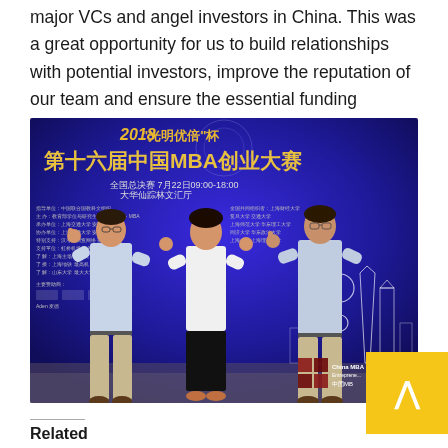major VCs and angel investors in China. This was a great opportunity for us to build relationships with potential investors, improve the reputation of our team and ensure the essential funding needed for further company establishment.
[Figure (photo): Three people posing in front of a large blue banner for the 2018 China MBA Entrepreneurship Competition (第十六届中国MBA创业大赛), with Shanghai skyline illustration in the background. A yellow scroll-to-top button overlaps the bottom-right corner of the image.]
Related